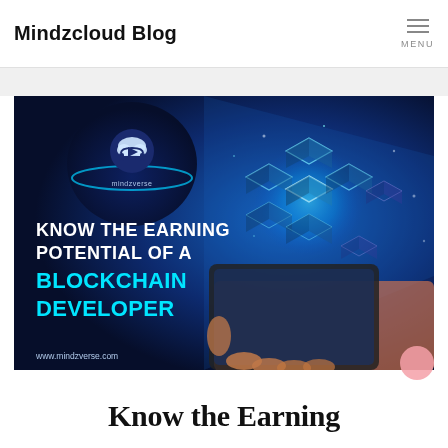Mindzcloud Blog  MENU
[Figure (illustration): Dark blue promotional banner image showing glowing 3D blockchain cubes held on a smartphone screen with text: 'KNOW THE EARNING POTENTIAL OF A BLOCKCHAIN DEVELOPER' in white and cyan, with mindzverse logo (cloud+headphone icon) in top left and www.mindzverse.com at bottom left]
Know the Earning